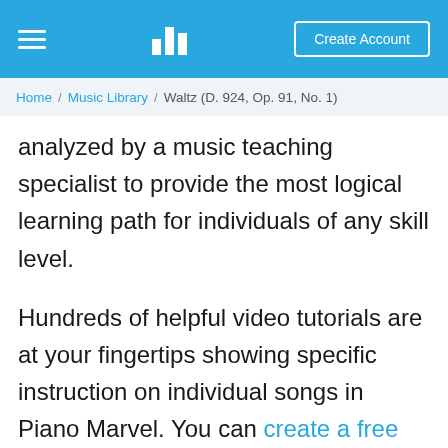Piano Marvel — hamburger menu, bar chart icon, Create Account button
Home / Music Library / Waltz (D. 924, Op. 91, No. 1)
analyzed by a music teaching specialist to provide the most logical learning path for individuals of any skill level.
Hundreds of helpful video tutorials are at your fingertips showing specific instruction on individual songs in Piano Marvel. You can create a free account to explore all of the ways Piano Marvel will help you to learn to play piano faster.